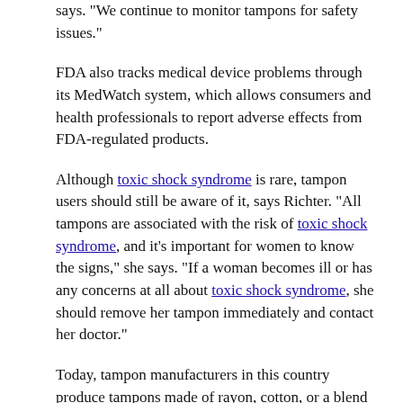says. "We continue to monitor tampons for safety issues."
FDA also tracks medical device problems through its MedWatch system, which allows consumers and health professionals to report adverse effects from FDA-regulated products.
Although toxic shock syndrome is rare, tampon users should still be aware of it, says Richter. "All tampons are associated with the risk of toxic shock syndrome, and it's important for women to know the signs," she says. "If a woman becomes ill or has any concerns at all about toxic shock syndrome, she should remove her tampon immediately and contact her doctor."
Today, tampon manufacturers in this country produce tampons made of rayon, cotton, or a blend of the two. Cotton is commonly referred to as "natural," while rayon is considered "synthetic." But consumers shouldn't assume that "synthetic" means bad and "natural" means safer, says Jay Gooch, Ph.D., a toxicologist and senior scientist at Proctor and Gamble. Rayon is made from cellulose fibers derived from wood pulp. "Technically speaking, rayon is synthetic, but it's more like natural cellulose than it is different," Gooch says. "There is a lot of confusion out there about what rayon is and a lot of unsupported allegations about the safety of the